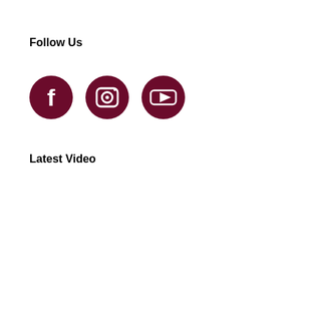Follow Us
[Figure (illustration): Three dark maroon circular social media icons in a row: Facebook (f logo), Instagram (camera outline logo), YouTube (play button logo)]
Latest Video